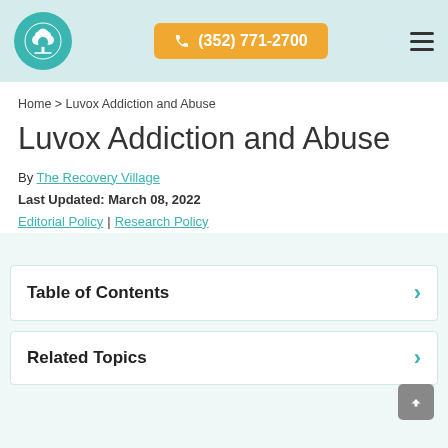(352) 771-2700
Home > Luvox Addiction and Abuse
Luvox Addiction and Abuse
By The Recovery Village
Last Updated: March 08, 2022
Editorial Policy | Research Policy
Table of Contents
Related Topics